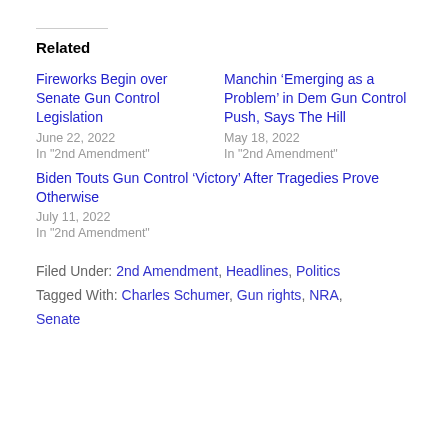Related
Fireworks Begin over Senate Gun Control Legislation
June 22, 2022
In "2nd Amendment"
Manchin ‘Emerging as a Problem’ in Dem Gun Control Push, Says The Hill
May 18, 2022
In "2nd Amendment"
Biden Touts Gun Control ‘Victory’ After Tragedies Prove Otherwise
July 11, 2022
In "2nd Amendment"
Filed Under: 2nd Amendment, Headlines, Politics
Tagged With: Charles Schumer, Gun rights, NRA, Senate